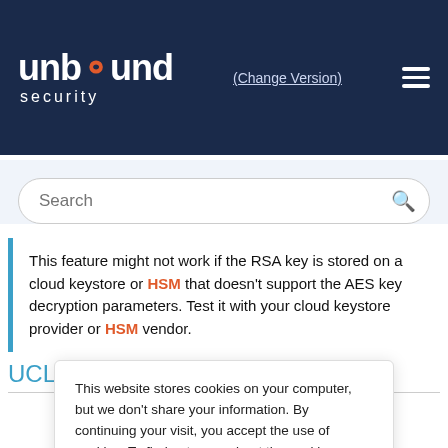unbound security (Change Version)
Search
This feature might not work if the RSA key is stored on a cloud keystore or HSM that doesn't support the AES key decryption parameters. Test it with your cloud keystore provider or HSM vendor.
UCL Encrypt Command
This website stores cookies on your computer, but we don't share your information. By continuing your visit, you accept the use of cookies. To find out more about the cookies we use, see our Privacy Policy.
Accept